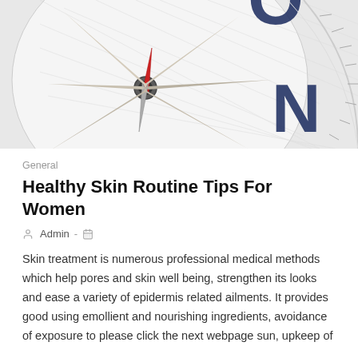[Figure (photo): Close-up photo of a compass showing needle pointing upper-right (red tip) and compass face with letters N visible in dark blue. Background is white/light grey with grid lines on the compass face.]
General
Healthy Skin Routine Tips For Women
Admin -  [calendar icon]
Skin treatment is numerous professional medical methods which help pores and skin well being, strengthen its looks and ease a variety of epidermis related ailments. It provides good using emollient and nourishing ingredients, avoidance of exposure to please click the next webpage sun, upkeep of